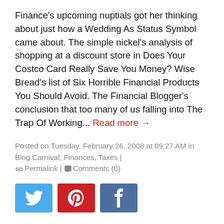Finance's upcoming nuptials got her thinking about just how a Wedding As Status Symbol came about. The simple nickel's analysis of shopping at a discount store in Does Your Costco Card Really Save You Money? Wise Bread's list of Six Horrible Financial Products You Should Avoid. The Financial Blogger's conclusion that too many of us falling into The Trap Of Working... Read more →
Posted on Tuesday, February 26, 2008 at 09:27 AM in Blog Carnival, Finances, Taxes | 🔗 Permalink | 💬 Comments (0)
[Figure (infographic): Social sharing buttons: Twitter (blue), Pinterest (red), Facebook (slate blue)]